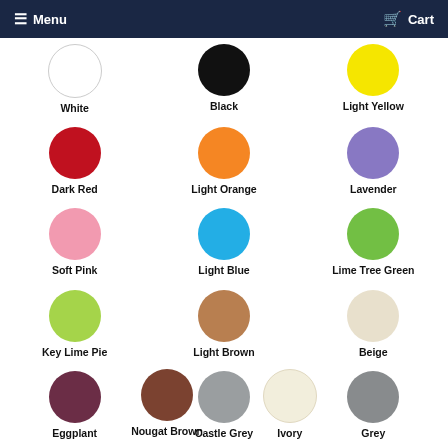Menu  Cart
[Figure (infographic): Color swatch grid showing 14 color circles with labels: White, Black, Light Yellow, Dark Red, Light Orange, Lavender, Soft Pink, Light Blue, Lime Tree Green, Key Lime Pie, Light Brown, Beige, Eggplant, Castle Grey, Grey, Nougat Brown, Ivory]